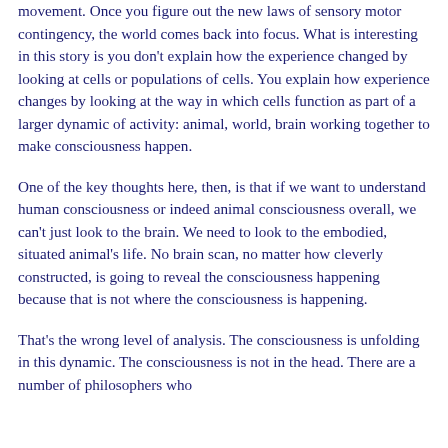movement. Once you figure out the new laws of sensory motor contingency, the world comes back into focus. What is interesting in this story is you don't explain how the experience changed by looking at cells or populations of cells. You explain how experience changes by looking at the way in which cells function as part of a larger dynamic of activity: animal, world, brain working together to make consciousness happen.
One of the key thoughts here, then, is that if we want to understand human consciousness or indeed animal consciousness overall, we can't just look to the brain. We need to look to the embodied, situated animal's life. No brain scan, no matter how cleverly constructed, is going to reveal the consciousness happening because that is not where the consciousness is happening.
That's the wrong level of analysis. The consciousness is unfolding in this dynamic. The consciousness is not in the head. There are a number of philosophers who